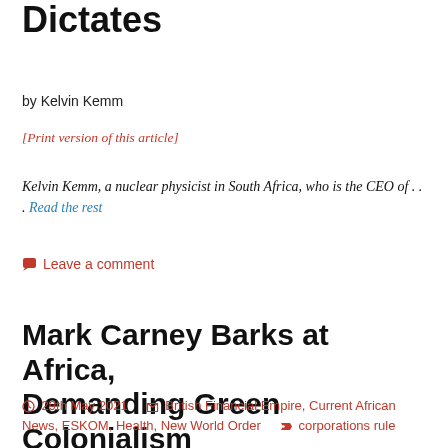Dictates
by Kelvin Kemm
[Print version of this article]
Kelvin Kemm, a nuclear physicist in South Africa, who is the CEO of . . . Read the rest
Leave a comment
Mark Carney Barks at Africa, Demanding Green Colonialism
29th May 2021    British Financial Empire, Current African News, ESKOM, Health, New World Order    corporations rule